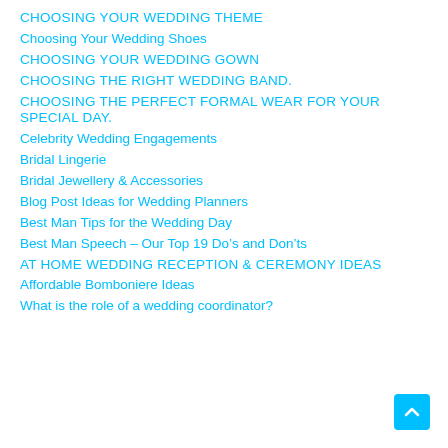CHOOSING YOUR WEDDING THEME
Choosing Your Wedding Shoes
CHOOSING YOUR WEDDING GOWN
CHOOSING THE RIGHT WEDDING BAND.
CHOOSING THE PERFECT FORMAL WEAR FOR YOUR SPECIAL DAY.
Celebrity Wedding Engagements
Bridal Lingerie
Bridal Jewellery & Accessories
Blog Post Ideas for Wedding Planners
Best Man Tips for the Wedding Day
Best Man Speech – Our Top 19 Do's and Don'ts
AT HOME WEDDING RECEPTION & CEREMONY IDEAS
Affordable Bomboniere Ideas
What is the role of a wedding coordinator?